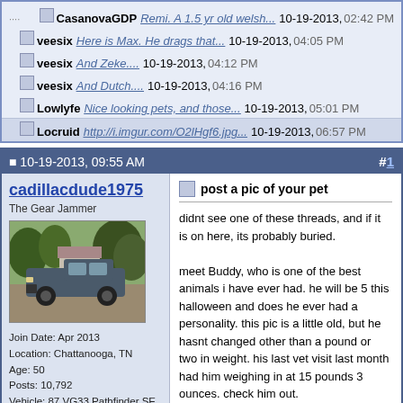CasanovaGDP Remi. A 1.5 yr old welsh... 10-19-2013, 02:42 PM
veesix Here is Max. He drags that... 10-19-2013, 04:05 PM
veesix And Zeke.... 10-19-2013, 04:12 PM
veesix And Dutch.... 10-19-2013, 04:16 PM
Lowlyfe Nice looking pets, and those... 10-19-2013, 05:01 PM
Locruid http://i.imgur.com/O2lHgf6.jpg... 10-19-2013, 06:57 PM
10-19-2013, 09:55 AM   #1
cadillacdude1975
The Gear Jammer
Join Date: Apr 2013
Location: Chattanooga, TN
Age: 50
Posts: 10,792
Vehicle: 87 VG33 Pathfinder SE 4x4 & 87 D21 SE
Thanks: 464
Thanked 1,425 Times in 1,289 Posts
[Figure (photo): User avatar photo showing a truck (appears to be a Nissan Pathfinder or similar) parked in a driveway with trees in background]
post a pic of your pet
didnt see one of these threads, and if it is on here, its probably buried.

meet Buddy, who is one of the best animals i have ever had. he will be 5 this halloween and does he ever had a personality. this pic is a little old, but he hasnt changed other than a pound or two in weight. his last vet visit last month had him weighing in at 15 pounds 3 ounces. check him out.

and here he is last christmas